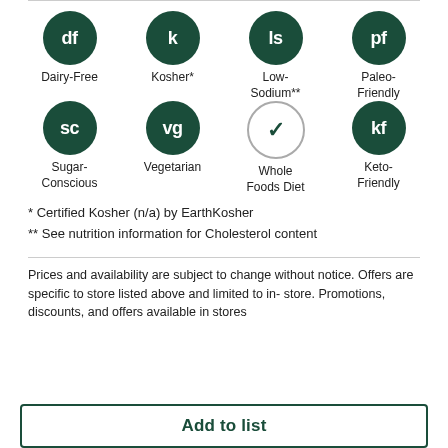[Figure (infographic): Grid of 8 dietary label icons: df (Dairy-Free), k (Kosher*), ls (Low-Sodium**), pf (Paleo-Friendly), sc (Sugar-Conscious), vg (Vegetarian), checkmark circle (Whole Foods Diet), kf (Keto-Friendly). Each icon is a dark green filled circle with white abbreviation text, except Whole Foods Diet which is an outline circle with a green checkmark.]
* Certified Kosher (n/a) by EarthKosher
** See nutrition information for Cholesterol content
Prices and availability are subject to change without notice. Offers are specific to store listed above and limited to in-store. Promotions, discounts, and offers available in stores
Add to list